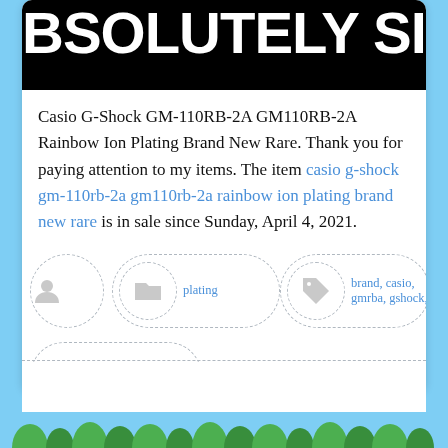[Figure (photo): Cropped banner image with large bold white text on black background reading 'BSOLUTELY SI' (partially visible)]
Casio G-Shock GM-110RB-2A GM110RB-2A Rainbow Ion Plating Brand New Rare. Thank you for paying attention to my items. The item casio g-shock gm-110rb-2a gm110rb-2a rainbow ion plating brand new rare is in sale since Sunday, April 4, 2021.
[Figure (infographic): Three dashed oval containers with icons: user icon (no text), folder icon with label 'plating', tag icon with labels 'brand, casio, gmrba, gshock,' and a fourth dashed oval below with text 'plating, rainbow, rare']